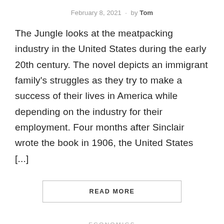February 8, 2021 · by Tom
The Jungle looks at the meatpacking industry in the United States during the early 20th century. The novel depicts an immigrant family's struggles as they try to make a success of their lives in America while depending on the industry for their employment. Four months after Sinclair wrote the book in 1906, the United States [...]
READ MORE
ECONOMICS
Doughnut Economics summary